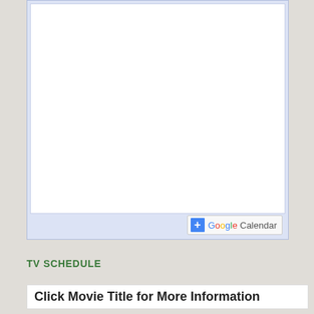[Figure (screenshot): A Google Calendar embed widget placeholder showing a white calendar area with a light blue-lavender border. At the bottom right of the widget is a '+Google Calendar' button with a blue plus icon followed by the Google-colored 'Google' text and 'Calendar' in gray.]
TV SCHEDULE
Click Movie Title for More Information